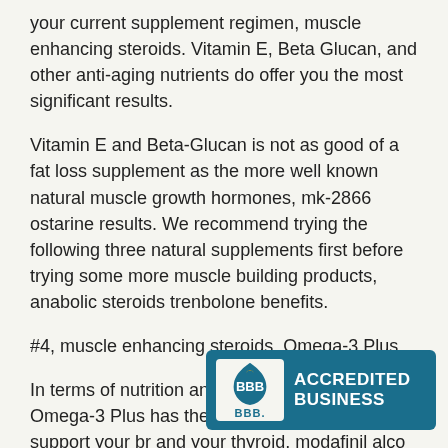your current supplement regimen, muscle enhancing steroids. Vitamin E, Beta Glucan, and other anti-aging nutrients do offer you the most significant results.
Vitamin E and Beta-Glucan is not as good of a fat loss supplement as the more well known natural muscle growth hormones, mk-2866 ostarine results. We recommend trying the following three natural supplements first before trying some more muscle building products, anabolic steroids trenbolone benefits.
#4, muscle enhancing steroids. Omega-3 Plus
In terms of nutrition and supplementation, Omega-3 Plus has the perfect of fatty acids to support your br and your thyroid, modafinil alco
[Figure (logo): BBB Accredited Business badge — teal/dark-cyan rectangle with the BBB flame logo on a white rounded box on the left and 'ACCREDITED BUSINESS' in bold white uppercase text on the right]